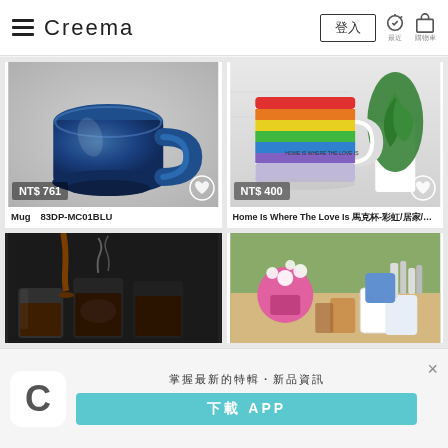Creema — 登入 (header navigation)
[Figure (photo): Blue ceramic mug on grey background, price tag NT$ 761]
Mug　83DP-MC01BLU
[Figure (photo): Rainbow striped mug with 'HOME IS WHERE THE LOVE IS' text, plant in background, price tag NT$ 400]
Home Is Where The Love Is 馬克杯-彩虹/居家/禮物
[Figure (photo): Coffee being poured into mugs, dark moody scene]
[Figure (photo): Table with flowers, enamel mugs, food, outdoor setting]
掌握最新的特輯・新品資訊
下載 APP